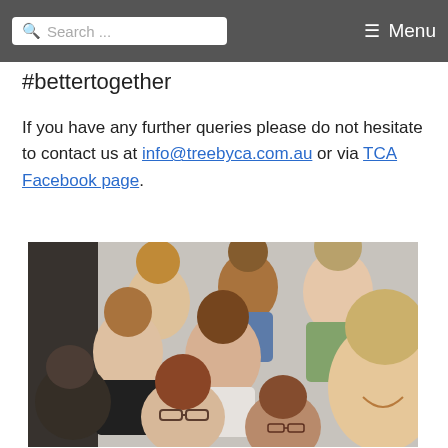Search ... Menu
#bettertogether
If you have any further queries please do not hesitate to contact us at info@treebyca.com.au or via TCA Facebook page.
[Figure (photo): Group selfie photo of approximately 8 smiling women and one man in an indoor setting]